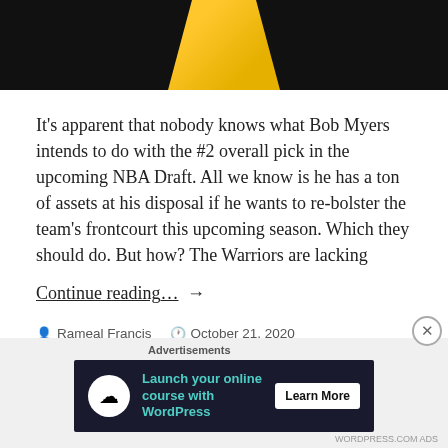[Figure (photo): Basketball player in yellow jersey, dark background]
It’s apparent that nobody knows what Bob Myers intends to do with the #2 overall pick in the upcoming NBA Draft. All we know is he has a ton of assets at his disposal if he wants to re-bolster the team’s frontcourt this upcoming season. Which they should do. But how? The Warriors are lacking
Continue reading…  →
Rameal Francis   October 21, 2020   Uncategorized   Leave a comment
[Figure (infographic): Advertisement banner: Launch your online course with WordPress - Learn More]